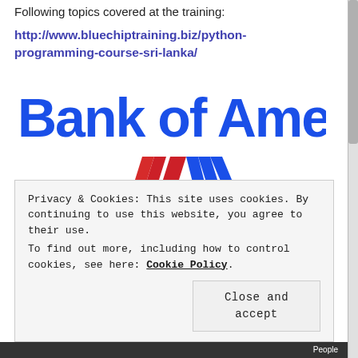Following topics covered at the training:
http://www.bluechiptraining.biz/python-programming-course-sri-lanka/
[Figure (logo): Bank of America logo with text 'Bank of America' in bold blue and the flag/swoosh symbol in blue and red]
Privacy & Cookies: This site uses cookies. By continuing to use this website, you agree to their use.
To find out more, including how to control cookies, see here: Cookie Policy
Close and accept